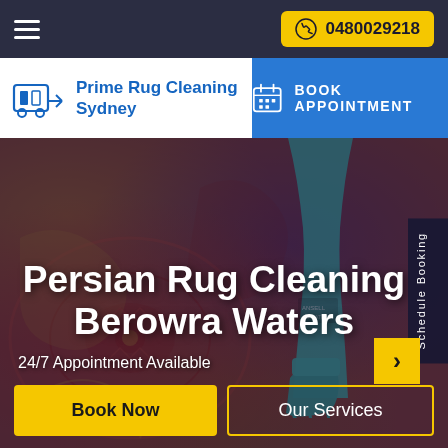0480029218
[Figure (logo): Prime Rug Cleaning Sydney logo with rug cleaning machine icon and blue text]
BOOK APPOINTMENT
[Figure (photo): Person wearing green rubber gloves cleaning a Persian rug with intricate red and gold patterns]
Persian Rug Cleaning Berowra Waters
24/7 Appointment Available
Book Now
Our Services
Schedule Booking